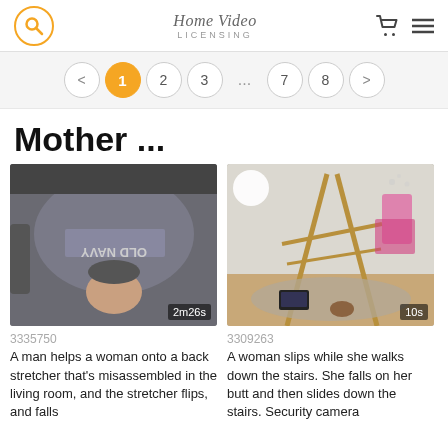Home Video LICENSING
< 1 2 3 ... 7 8 >
Mother ...
[Figure (photo): A person in a gray Old Navy shirt leaning back on a chair/stretcher, viewed upside down. Duration: 2m26s]
[Figure (photo): A children's room with a wooden play gym/frame, pink toys, and a laptop on the floor. Security camera footage. Duration: 10s]
3335750
A man helps a woman onto a back stretcher that's misassembled in the living room, and the stretcher flips, and falls
3309263
A woman slips while she walks down the stairs. She falls on her butt and then slides down the stairs. Security camera